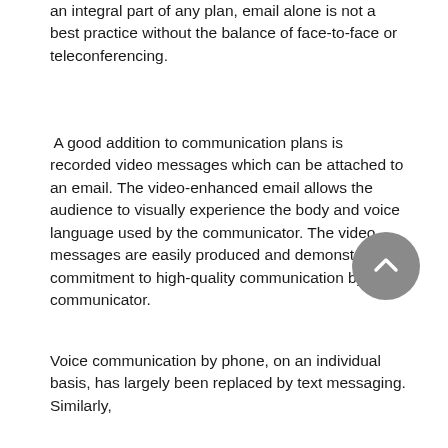an integral part of any plan, email alone is not a best practice without the balance of face-to-face or teleconferencing.
A good addition to communication plans is recorded video messages which can be attached to an email. The video-enhanced email allows the audience to visually experience the body and voice language used by the communicator. The video messages are easily produced and demonstrate a commitment to high-quality communication by the communicator.
Voice communication by phone, on an individual basis, has largely been replaced by text messaging. Similarly,